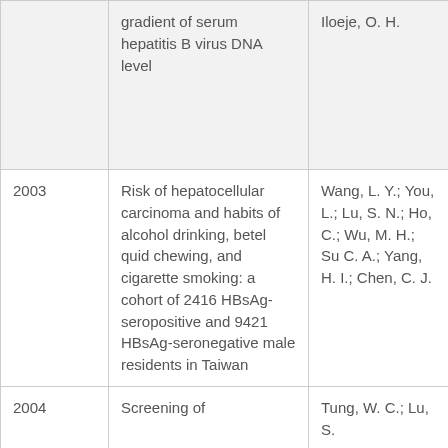| Year | Title | Authors |
| --- | --- | --- |
|  | gradient of serum hepatitis B virus DNA level | Iloeje, O. H. |
| 2003 | Risk of hepatocellular carcinoma and habits of alcohol drinking, betel quid chewing, and cigarette smoking: a cohort of 2416 HBsAg-seropositive and 9421 HBsAg-seronegative male residents in Taiwan | Wang, L. Y.; You, L.; Lu, S. N.; Ho, C.; Wu, M. H.; Su C. A.; Yang, H. I.; Chen, C. J. |
| 2004 | Screening of | Tung, W. C.; Lu, S. |